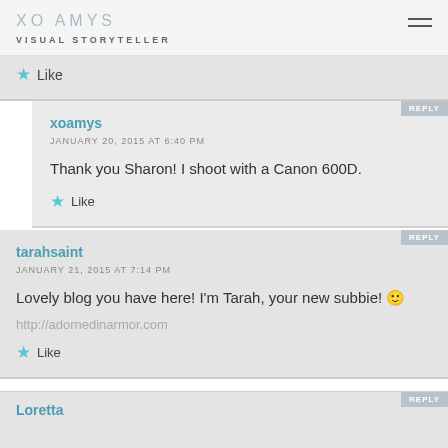XO AMYS
VISUAL STORYTELLER
Like
xoamys
JANUARY 20, 2015 AT 6:40 PM
Thank you Sharon! I shoot with a Canon 600D.
Like
tarahsaint
JANUARY 21, 2015 AT 7:14 PM
Lovely blog you have here! I'm Tarah, your new subbie! 🙂
http://adornedinarmor.com
Like
Loretta